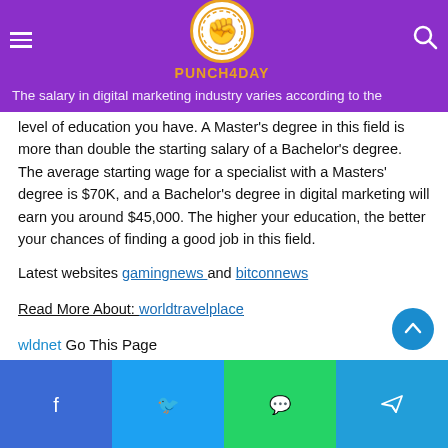PUNCH4DAY
The salary in digital marketing industry varies according to the level of education you have. A Master's degree in this field is more than double the starting salary of a Bachelor's degree. The average starting wage for a specialist with a Masters' degree is $70K, and a Bachelor's degree in digital marketing will earn you around $45,000. The higher your education, the better your chances of finding a good job in this field.
Latest websites gamingnews and bitconnews
Read More About: worldtravelplace
wldnet Go This Page